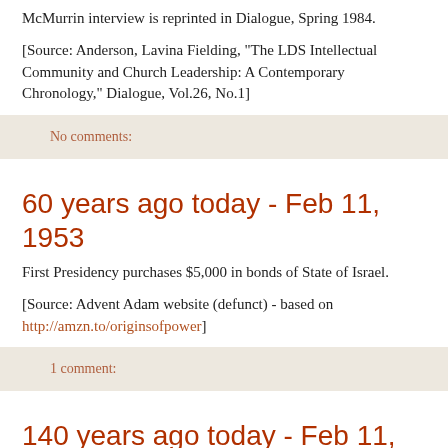McMurrin interview is reprinted in Dialogue, Spring 1984.
[Source: Anderson, Lavina Fielding, "The LDS Intellectual Community and Church Leadership: A Contemporary Chronology," Dialogue, Vol.26, No.1]
No comments:
60 years ago today - Feb 11, 1953
First Presidency purchases $5,000 in bonds of State of Israel.
[Source: Advent Adam website (defunct) - based on http://amzn.to/originsofpower]
1 comment:
140 years ago today - Feb 11, 1873